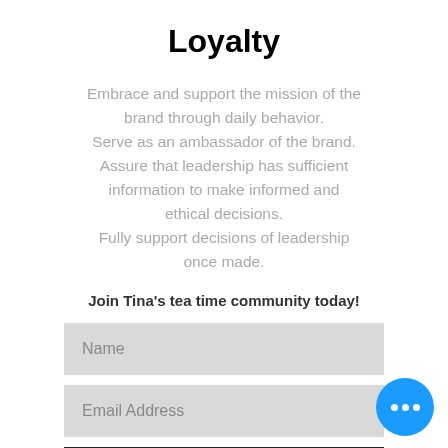Loyalty
Embrace and support the mission of the brand through daily behavior. Serve as an ambassador of the brand. Assure that leadership has sufficient information to make informed and ethical decisions. Fully support decisions of leadership once made.
Join Tina's tea time community today!
Name
Email Address
Subscribe Now